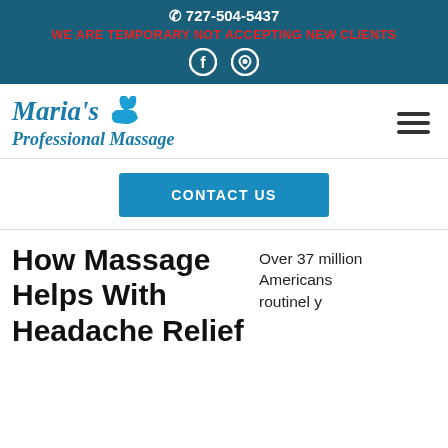📞 727-504-5437
WE ARE TEMPORARY NOT ACCEPTING NEW CLIENTS
[Figure (logo): Maria's Professional Massage logo with hand/leaf icon]
CONTACT US
How Massage Helps With Headache Relief
Over 37 million Americans routinely